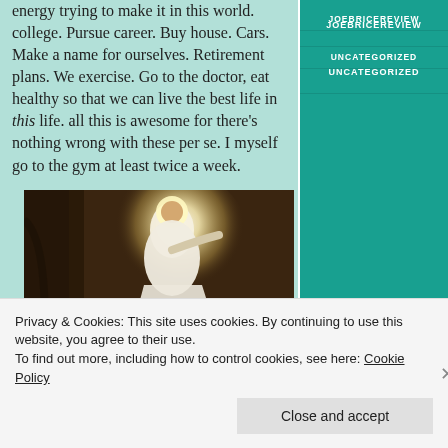energy trying to make it in this world. college. Pursue career. Buy house. Cars. Make a name for ourselves. Retirement plans. We exercise. Go to the doctor, eat healthy so that we can live the best life in this life. all this is awesome for there's nothing wrong with these per se. I myself go to the gym at least twice a week.
[Figure (illustration): Religious illustration of Jesus in white robes with a glowing halo, extending his hand toward a kneeling figure, in a dark forest/cave setting]
JOEBRICEREVIEW
UNCATEGORIZED
Privacy & Cookies: This site uses cookies. By continuing to use this website, you agree to their use. To find out more, including how to control cookies, see here: Cookie Policy
Close and accept